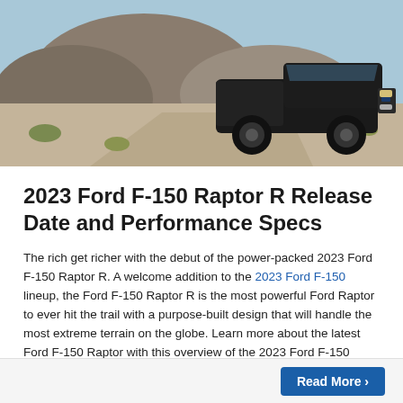[Figure (photo): A black Ford F-150 Raptor R truck driving on a desert trail with sandy hills and sparse desert shrubs in the background under a blue sky.]
2023 Ford F-150 Raptor R Release Date and Performance Specs
The rich get richer with the debut of the power-packed 2023 Ford F-150 Raptor R. A welcome addition to the 2023 Ford F-150 lineup, the Ford F-150 Raptor R is the most powerful Ford Raptor to ever hit the trail with a purpose-built design that will handle the most extreme terrain on the globe. Learn more about the latest Ford F-150 Raptor with this overview of the 2023 Ford F-150 Raptor R release date and performance specs created by Brandon Ford in Tampa, FL.
Read the rest of this entry »
Read More ›